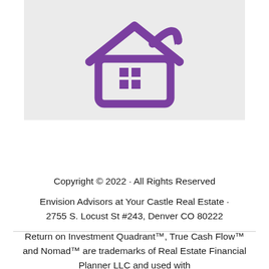[Figure (logo): Purple house with upward arrow logo on light gray background — Envision Advisors / Real Estate investment brand logo]
Copyright © 2022 · All Rights Reserved

Envision Advisors at Your Castle Real Estate · 2755 S. Locust St #243, Denver CO 80222

Return on Investment Quadrant™, True Cash Flow™ and Nomad™ are trademarks of Real Estate Financial Planner LLC and used with